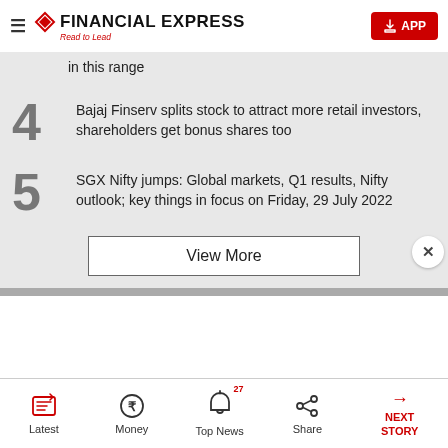FINANCIAL EXPRESS — Read to Lead — APP
in this range
4 Bajaj Finserv splits stock to attract more retail investors, shareholders get bonus shares too
5 SGX Nifty jumps: Global markets, Q1 results, Nifty outlook; key things in focus on Friday, 29 July 2022
View More
Latest | Money | Top News 27 | Share | NEXT STORY